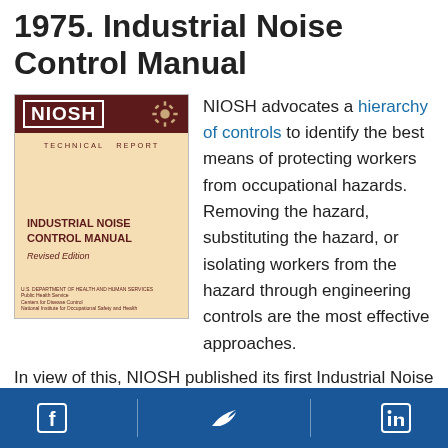1975. Industrial Noise Control Manual
[Figure (photo): Cover of the NIOSH Industrial Noise Control Manual technical report, revised edition. Tan/beige cover with dark red NIOSH header banner, gear icon, 'TECHNICAL REPORT' label, title text, and 'Revised Edition' subtitle.]
NIOSH advocates a hierarchy of controls to identify the best means of protecting workers from occupational hazards. Removing the hazard, substituting the hazard, or isolating workers from the hazard through engineering controls are the most effective approaches.
In view of this, NIOSH published its first Industrial Noise Control Manual in 1975. The document included essential information about noise control
Facebook | Twitter | LinkedIn